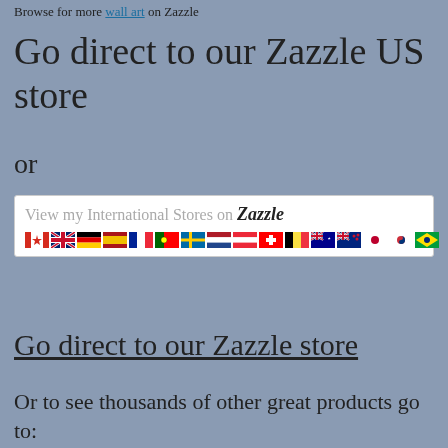Browse for more wall art on Zazzle
Go direct to our Zazzle US store
or
[Figure (other): Banner showing 'View my International Stores on Zazzle' with international flags for Canada, UK, Germany, Spain, France, Portugal, Sweden, Netherlands, Austria, Switzerland, Belgium, Australia, New Zealand, Japan, South Korea, Brazil]
Go direct to our Zazzle store
Or to see thousands of other great products go to: